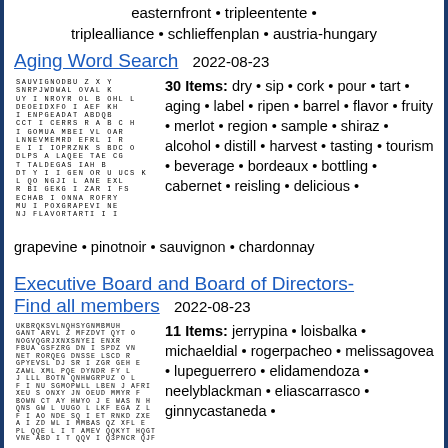easternfront • tripleentente • triplealliance • schlieffenplan • austria-hungary
Aging Word Search   2022-08-23
[Figure (other): Word search puzzle grid for Aging Word Search]
30 Items: dry • sip • cork • pour • tart • aging • label • ripen • barrel • flavor • fruity • merlot • region • sample • shiraz • alcohol • distill • harvest • tasting • tourism • beverage • bordeaux • bottling • cabernet • reisling • delicious • grapevine • pinotnoir • sauvignon • chardonnay
Executive Board and Board of Directors-Find all members   2022-08-23
[Figure (other): Word search puzzle grid for Executive Board and Board of Directors]
11 Items: jerrypina • loisbalka • michaeldial • rogerpacheo • melissagovea • lupeguerrero • elidamendoza • neelyblackman • eliascarrasco • ginnycastaneda •